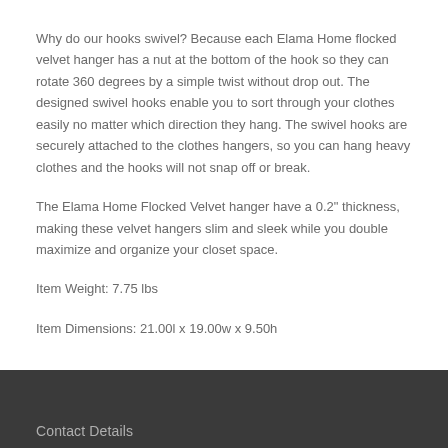Why do our hooks swivel? Because each Elama Home flocked velvet hanger has a nut at the bottom of the hook so they can rotate 360 degrees by a simple twist without drop out. The designed swivel hooks enable you to sort through your clothes easily no matter which direction they hang. The swivel hooks are securely attached to the clothes hangers, so you can hang heavy clothes and the hooks will not snap off or break.
The Elama Home Flocked Velvet hanger have a 0.2" thickness, making these velvet hangers slim and sleek while you double maximize and organize your closet space.
Item Weight: 7.75 lbs
Item Dimensions: 21.00l x 19.00w x 9.50h
Contact Details